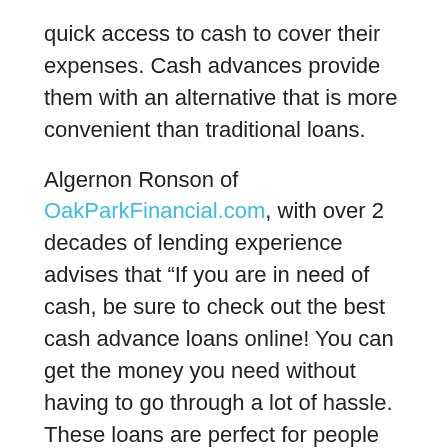quick access to cash to cover their expenses. Cash advances provide them with an alternative that is more convenient than traditional loans.
Algernon Ronson of OakParkFinancial.com, with over 2 decades of lending experience advises that “If you are in need of cash, be sure to check out the best cash advance loans online! You can get the money you need without having to go through a lot of hassle. These loans are perfect for people who need money quickly and don’t want to deal with a bank or other financial institution.”
What is a cash advance loan and how does it work?
A cash advance loan is a type of personal loan that considers the borrower’s income and expenses. The